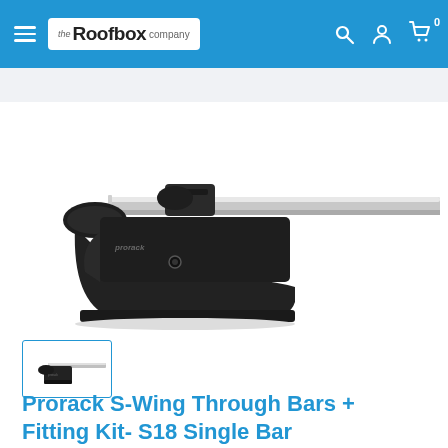the Roofbox company
[Figure (photo): Prorack S-Wing roof bar with black bracket/foot mount on white background, silver aluminium bar extending to the right]
[Figure (photo): Small thumbnail of the same Prorack S-Wing roof bar product]
Prorack S-Wing Through Bars + Fitting Kit- S18 Single Bar